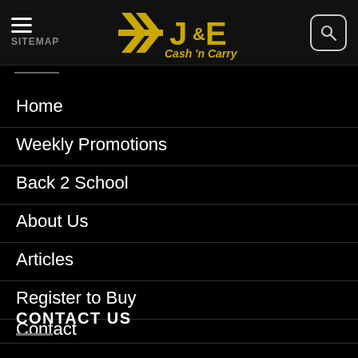J&E Cash 'n Carry — SITEMAP navigation header
Home
Weekly Promotions
Back 2 School
About Us
Articles
Register to Buy
Contact
CONTACT US